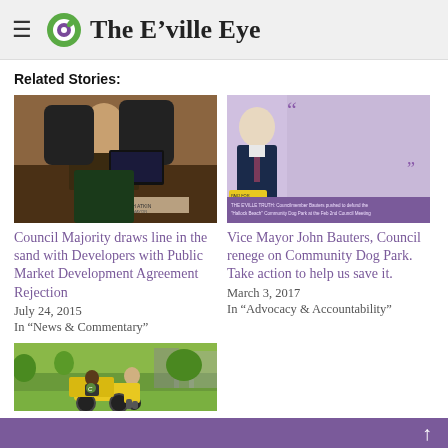The E'ville Eye
Related Stories:
[Figure (photo): Person at council meeting covering face with hands, with name placard visible]
Council Majority draws line in the sand with Developers with Public Market Development Agreement Rejection
July 24, 2015
In "News & Commentary"
[Figure (photo): Quote card with photo of John Bauters and quote about committing to the dog park, with E'ville Truth note at bottom]
Vice Mayor John Bauters, Council renege on Community Dog Park. Take action to help us save it.
March 3, 2017
In "Advocacy & Accountability"
[Figure (photo): Outdoor scene with person on a yellow cargo bike/tricycle in a park setting]